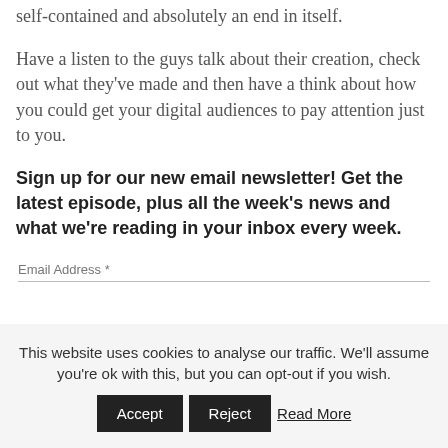self-contained and absolutely an end in itself.
Have a listen to the guys talk about their creation, check out what they've made and then have a think about how you could get your digital audiences to pay attention just to you.
Sign up for our new email newsletter! Get the latest episode, plus all the week's news and what we're reading in your inbox every week.
Email Address *
This website uses cookies to analyse our traffic. We'll assume you're ok with this, but you can opt-out if you wish.  Accept  Reject  Read More